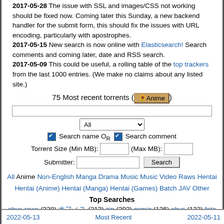2017-05-28 The issue with SSL and images/CSS not working should be fixed now. Coming later this Sunday, a new backend handler for the submit form, this should fix the issues with URL encoding, particularly with apostrophes. 2017-05-15 New search is now online with Elasticsearch! Search comments and coming later, date and RSS search. 2017-05-09 This could be useful, a rolling table of the top trackers from the last 1000 entries. (We make no claims about any listed site.)
75 Most recent torrents (Anime)
Search name Or  Search comment
Torrent Size (Min MB): [input] (Max MB): [input]
Submitter: [input] Search
All Anime Non-English Manga Drama Music Music Video Raws Hentai Hentai (Anime) Hentai (Manga) Hentai (Games) Batch JAV Other
Top Searches
ohys-raws (228) ??????? (213) zip (202) comic (136) ohys (132) fate (115) raws (101) m (96) uncensored (92) [ohys-raws] (92) t (90) fc2 (85) house of the dragon s01e02 proper|repack|real|rerip (83) ? (82)
2022-05-13    Most Recent    2022-05-11